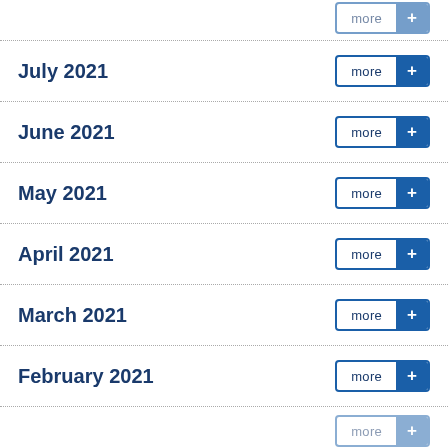July 2021
June 2021
May 2021
April 2021
March 2021
February 2021